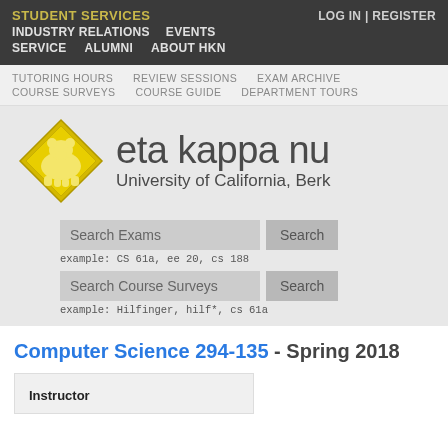STUDENT SERVICES | INDUSTRY RELATIONS | EVENTS | SERVICE | ALUMNI | ABOUT HKN | LOG IN | REGISTER
TUTORING HOURS | REVIEW SESSIONS | EXAM ARCHIVE | COURSE SURVEYS | COURSE GUIDE | DEPARTMENT TOURS
[Figure (logo): Eta Kappa Nu logo — yellow diamond with polar bear silhouette. Text: eta kappa nu, University of California, Berk...]
Search Exams | Search | example: CS 61a, ee 20, cs 188
Search Course Surveys | Search | example: Hilfinger, hilf*, cs 61a
Computer Science 294-135 - Spring 2018
| Instructor |
| --- |
|  |